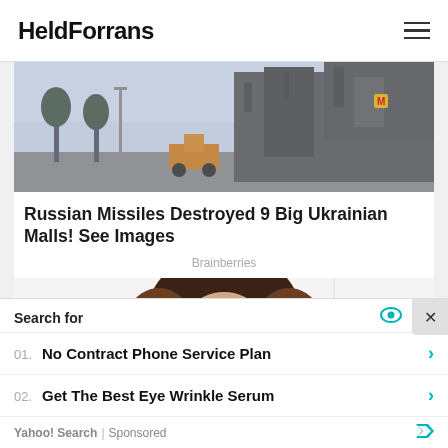HeldForrans
[Figure (photo): Destroyed building exterior, likely Ukrainian shopping mall, with street lights and trees in background]
Russian Missiles Destroyed 9 Big Ukrainian Malls! See Images
Brainberries
[Figure (photo): Young woman with long brown ombre hair, wearing hoop earrings and a necklace, against a light background]
Search for
01. No Contract Phone Service Plan
02. Get The Best Eye Wrinkle Serum
Yahoo! Search | Sponsored